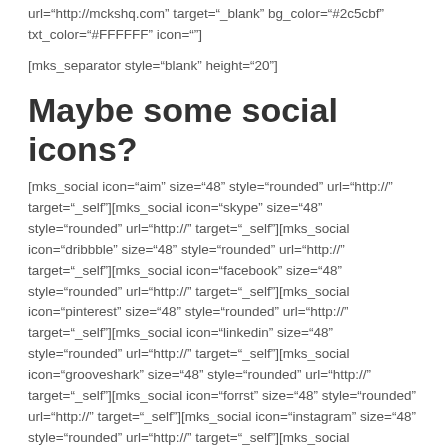url="http://mckshq.com" target="_blank" bg_color="#2c5cbf" txt_color="#FFFFFF" icon=""]
[mks_separator style="blank" height="20"]
Maybe some social icons?
[mks_social icon="aim" size="48" style="rounded" url="http://" target="_self"][mks_social icon="skype" size="48" style="rounded" url="http://" target="_self"][mks_social icon="dribbble" size="48" style="rounded" url="http://" target="_self"][mks_social icon="facebook" size="48" style="rounded" url="http://" target="_self"][mks_social icon="pinterest" size="48" style="rounded" url="http://" target="_self"][mks_social icon="linkedin" size="48" style="rounded" url="http://" target="_self"][mks_social icon="grooveshark" size="48" style="rounded" url="http://" target="_self"][mks_social icon="forrst" size="48" style="rounded" url="http://" target="_self"][mks_social icon="instagram" size="48" style="rounded" url="http://" target="_self"][mks_social icon="flickr" size="48"